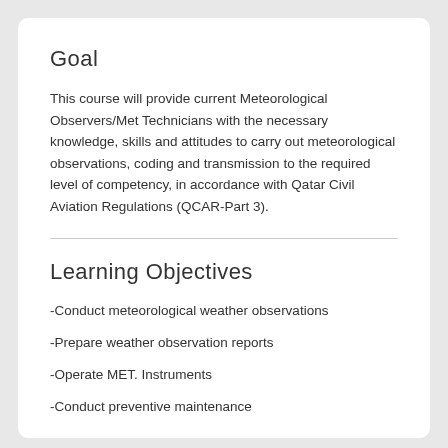Goal
This course will provide current Meteorological Observers/Met Technicians with the necessary knowledge, skills and attitudes to carry out meteorological observations, coding and transmission to the required level of competency, in accordance with Qatar Civil Aviation Regulations (QCAR-Part 3).
Learning Objectives
-Conduct meteorological weather observations
-Prepare weather observation reports
-Operate MET. Instruments
-Conduct preventive maintenance